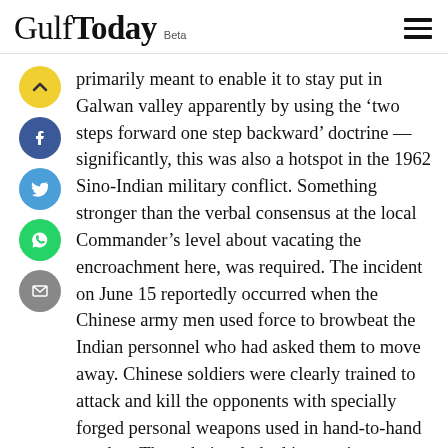Gulf Today Beta
primarily meant to enable it to stay put in Galwan valley apparently by using the ‘two steps forward one step backward’ doctrine — significantly, this was also a hotspot in the 1962 Sino-Indian military conflict. Something stronger than the verbal consensus at the local Commander’s level about vacating the encroachment here, was required. The incident on June 15 reportedly occurred when the Chinese army men used force to browbeat the Indian personnel who had asked them to move away. Chinese soldiers were clearly trained to attack and kill the opponents with specially forged personal weapons used in hand-to-hand combat. They obviously had instructions not to move back and to take advantage of the